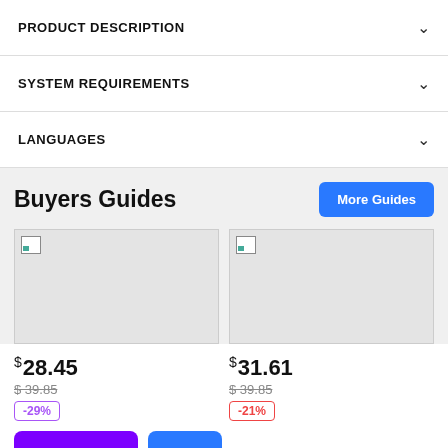PRODUCT DESCRIPTION
SYSTEM REQUIREMENTS
LANGUAGES
Buyers Guides
More Guides
[Figure (photo): Buyer guide image placeholder 1 (broken image)]
[Figure (photo): Buyer guide image placeholder 2 (broken image)]
$ 28.45
$39.85
-29%
$ 31.61
$39.85
-21%
Buy with G2A Plus
Add to cart